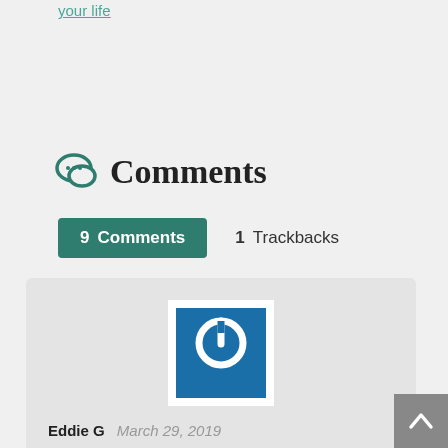your life
Comments
9 Comments   1 Trackbacks
[Figure (illustration): User avatar: white background with a blue square containing a white power button icon]
Eddie G   March 29, 2019
Has anyone tried making liposomal Vitamin B-12?